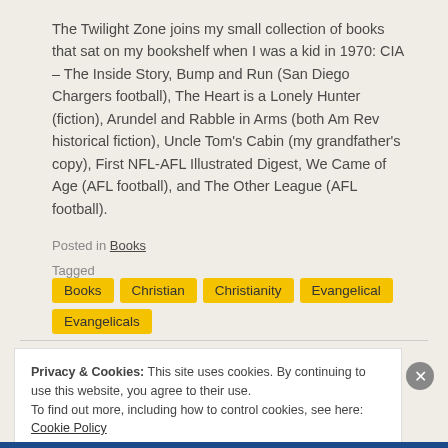The Twilight Zone joins my small collection of books that sat on my bookshelf when I was a kid in 1970: CIA – The Inside Story, Bump and Run (San Diego Chargers football), The Heart is a Lonely Hunter (fiction), Arundel and Rabble in Arms (both Am Rev historical fiction), Uncle Tom's Cabin (my grandfather's copy), First NFL-AFL Illustrated Digest, We Came of Age (AFL football), and The Other League (AFL football).
Posted in Books
Tagged Books Christian Christianity Evangelical Evangelicals
12 Comments
Privacy & Cookies: This site uses cookies. By continuing to use this website, you agree to their use. To find out more, including how to control cookies, see here: Cookie Policy